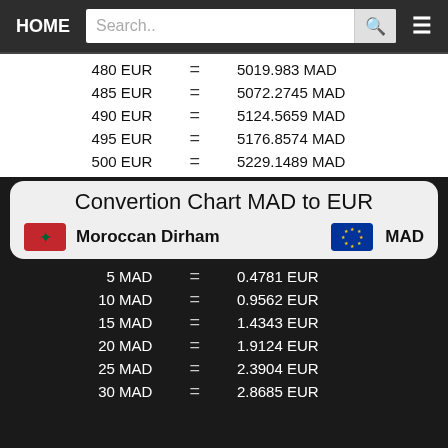HOME | Search.. | [search button] | [menu]
| Amount EUR | = | Amount MAD |
| --- | --- | --- |
| 480 EUR | = | 5019.983 MAD |
| 485 EUR | = | 5072.2745 MAD |
| 490 EUR | = | 5124.5659 MAD |
| 495 EUR | = | 5176.8574 MAD |
| 500 EUR | = | 5229.1489 MAD |
Convertion Chart MAD to EUR
[Figure (infographic): Moroccan Dirham flag (red with green star) and EU flag (blue with gold stars) with labels 'Moroccan Dirham' and 'MAD']
| Amount MAD | = | Amount EUR |
| --- | --- | --- |
| 5 MAD | = | 0.4781 EUR |
| 10 MAD | = | 0.9562 EUR |
| 15 MAD | = | 1.4343 EUR |
| 20 MAD | = | 1.9124 EUR |
| 25 MAD | = | 2.3904 EUR |
| 30 MAD | = | 2.8685 EUR |